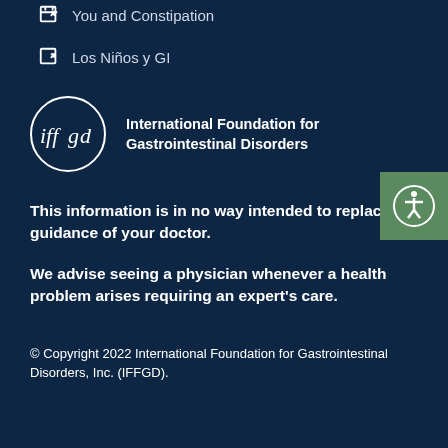You and Constipation
Los Niños y GI
[Figure (logo): Green square accessibility button with circular person icon]
[Figure (logo): IFFGD circular logo with text: International Foundation for Gastrointestinal Disorders]
This information is in no way intended to replace the guidance of your doctor.
We advise seeing a physician whenever a health problem arises requiring an expert's care.
© Copyright 2022 International Foundation for Gastrointestinal Disorders, Inc. (IFFGD).